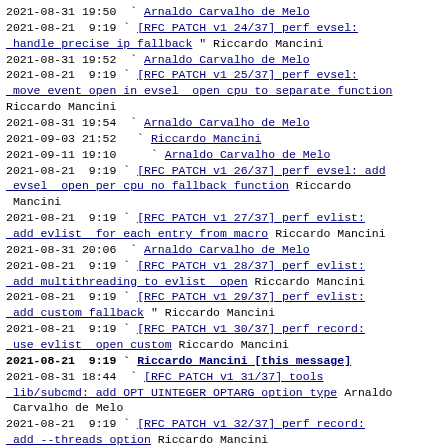2021-08-31 19:50  ` Arnaldo Carvalho de Melo
2021-08-21  9:19 ` [RFC PATCH v1 24/37] perf evsel: handle precise ip fallback " Riccardo Mancini
2021-08-31 19:52  ` Arnaldo Carvalho de Melo
2021-08-21  9:19 ` [RFC PATCH v1 25/37] perf evsel: move event open in evsel  open cpu to separate function Riccardo Mancini
2021-08-31 19:54  ` Arnaldo Carvalho de Melo
2021-09-03 21:52   ` Riccardo Mancini
2021-09-11 19:10     ` Arnaldo Carvalho de Melo
2021-08-21  9:19 ` [RFC PATCH v1 26/37] perf evsel: add evsel  open per cpu no fallback function Riccardo Mancini
2021-08-21  9:19 ` [RFC PATCH v1 27/37] perf evlist: add evlist  for each entry from macro Riccardo Mancini
2021-08-31 20:06  ` Arnaldo Carvalho de Melo
2021-08-21  9:19 ` [RFC PATCH v1 28/37] perf evlist: add multithreading to evlist  open Riccardo Mancini
2021-08-21  9:19 ` [RFC PATCH v1 29/37] perf evlist: add custom fallback " Riccardo Mancini
2021-08-21  9:19 ` [RFC PATCH v1 30/37] perf record: use evlist  open custom Riccardo Mancini
2021-08-21  9:19 ` Riccardo Mancini [this message]
2021-08-31 18:44  ` [RFC PATCH v1 31/37] tools lib/subcmd: add OPT UINTEGER OPTARG option type Arnaldo Carvalho de Melo
2021-08-21  9:19 ` [RFC PATCH v1 32/37] perf record: add --threads option Riccardo Mancini
2021-08-21  9:19 ` [RFC PATCH v1 33/37] perf record: pin threads to monitored cpus if enough threads